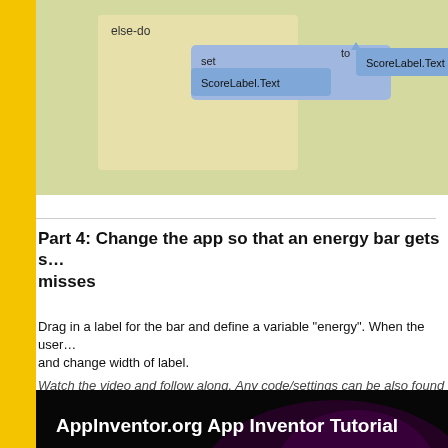[Figure (screenshot): App Inventor blocks editor screenshot showing else-do block with 'set ScoreLabel.Text to ScoreLabel.Text' blocks in a light green/yellow workspace]
Part 4: Change the app so that an energy bar gets s… misses
Drag in a label for the bar and define a variable "energy". When the user… and change width of label.
Watch the video and follow along. Any code/settings can be also found b…
[Figure (screenshot): Video thumbnail for AppInventor.org App Inventor Tutorial 3 - MoleMash - Step 4, showing a play button over a screenshot of the App Inventor interface]